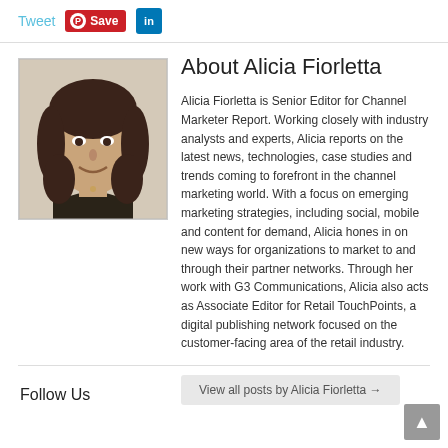Tweet  Save  in
[Figure (photo): Headshot photo of Alicia Fiorletta, a young woman with dark brown shoulder-length hair, smiling, wearing a dark top]
About Alicia Fiorletta
Alicia Fiorletta is Senior Editor for Channel Marketer Report. Working closely with industry analysts and experts, Alicia reports on the latest news, technologies, case studies and trends coming to forefront in the channel marketing world. With a focus on emerging marketing strategies, including social, mobile and content for demand, Alicia hones in on new ways for organizations to market to and through their partner networks. Through her work with G3 Communications, Alicia also acts as Associate Editor for Retail TouchPoints, a digital publishing network focused on the customer-facing area of the retail industry.
View all posts by Alicia Fiorletta →
Follow Us